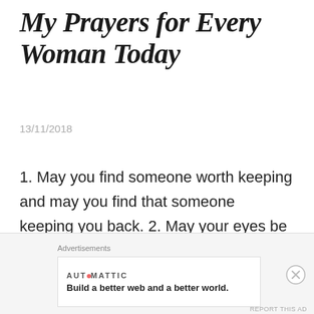My Prayers for Every Woman Today
13/11/2018
1. May you find someone worth keeping and may you find that someone keeping you back. 2. May your eyes be opened to the truth and believe that truth will set you free. 3. May you find someone who recognises your light and takes care of
Advertisements
AUTOMATTIC
Build a better web and a better world.